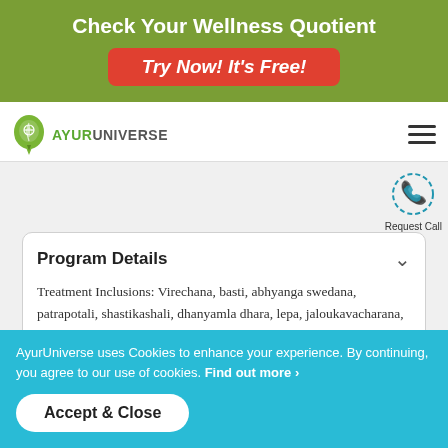Check Your Wellness Quotient
Try Now! It's Free!
[Figure (logo): AyurUniverse logo with green leaf/map-pin icon and text AYURUNIVERSE]
[Figure (other): Hamburger menu icon (three horizontal lines)]
[Figure (other): Request Call button with circular phone icon]
Program Details
Treatment Inclusions: Virechana, basti, abhyanga swedana, patrapotali, shastikashali, dhanyamla dhara, lepa, jaloukavacharana, use full in osteo arthritis, rhumatoid, gout etc
AyurUniverse uses Cookies to enhance your experience. By continuing, you agree to our use of cookies. Find out more ›
Accept & Close